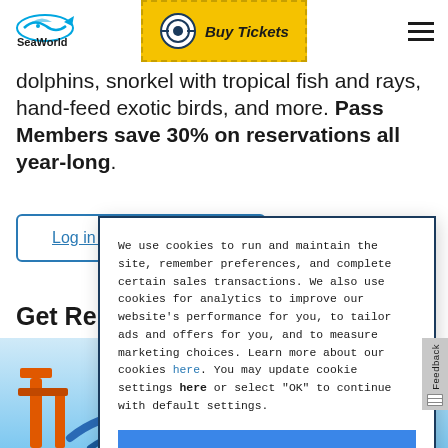SeaWorld | Buy Tickets
dolphins, snorkel with tropical fish and rays, hand-feed exotic birds, and more. Pass Members save 30% on reservations all year-long.
Log in to Access Savings
Get Re...
[Figure (screenshot): Blue sky background with orange and blue roller coaster ride elements visible at bottom]
We use cookies to run and maintain the site, remember preferences, and complete certain sales transactions. We also use cookies for analytics to improve our website's performance for you, to tailor ads and offers for you, and to measure marketing choices. Learn more about our cookies here. You may update cookie settings here or select "OK" to continue with default settings.
OK
Feedback